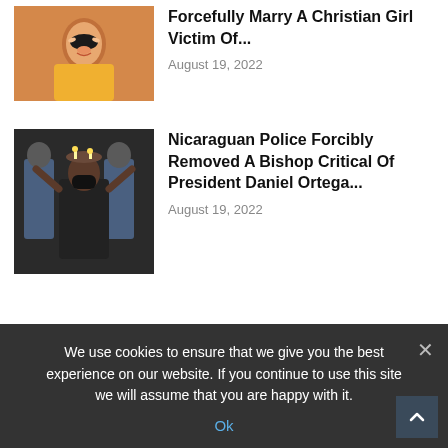Forcefully Marry A Christian Girl Victim Of...
August 19, 2022
Nicaraguan Police Forcibly Removed A Bishop Critical Of President Daniel Ortega...
August 19, 2022
We use cookies to ensure that we give you the best experience on our website. If you continue to use this site we will assume that you are happy with it.
Ok